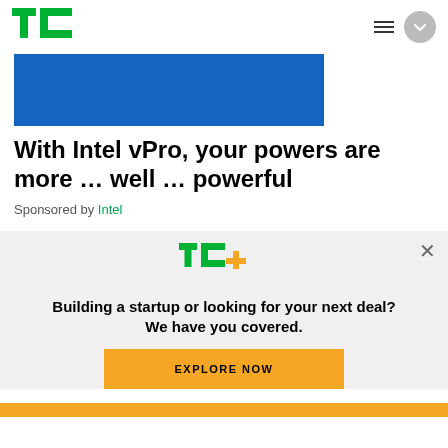TechCrunch
[Figure (other): Blue banner image (Intel vPro advertisement banner)]
With Intel vPro, your powers are more ... well ... powerful
Sponsored by Intel
[Figure (logo): TechCrunch TC+ logo in green with plus sign]
Building a startup or looking for your next deal? We have you covered.
EXPLORE NOW